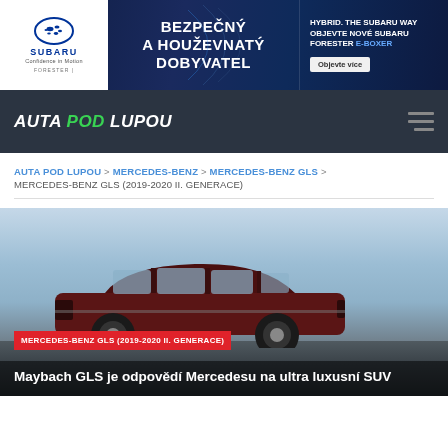[Figure (screenshot): Subaru advertisement banner for Forester e-Boxer with text BEZPECNY A HOUZEVAVY DOBYVATEL and HYBRID. THE SUBARU WAY OBJEVTE NOVE SUBARU FORESTER e-BOXER]
AUTA POD LUPOU
AUTA POD LUPOU > MERCEDES-BENZ > MERCEDES-BENZ GLS > MERCEDES-BENZ GLS (2019-2020 II. GENERACE)
[Figure (photo): Photo of Mercedes-Benz Maybach GLS dark red SUV on a road with sky background]
MERCEDES-BENZ GLS (2019-2020 II. GENERACE)
Maybach GLS je odpovědí Mercedesu na ultra luxusní SUV